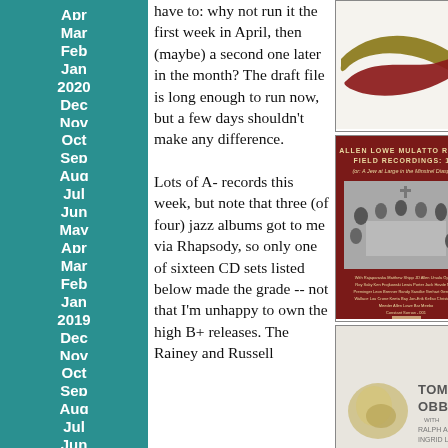Apr
Mar
Feb
Jan
2020
Dec
Nov
Oct
Sep
Aug
Jul
Jun
May
Apr
Mar
Feb
Jan
2019
Dec
Nov
Oct
Sep
Aug
Jul
Jun
have to: why not run it the first week in April, then (maybe) a second one later in the month? The draft file is long enough to run now, but a few days shouldn't make any difference.

Lots of A- records this week, but note that three (of four) jazz albums got to me via Rhapsody, so only one of sixteen CD sets listed below made the grade -- not that I'm unhappy to own the high B+ releases. The Rainey and Russell
[Figure (illustration): Abstract swoosh artwork — two intertwined curved shapes, one dark gold/olive and one dark red, crossing over each other on a light background]
[Figure (photo): Album cover for Allen Lowe 'Mulatto Radio: Field Recordings: 1-4 (or: A Jew at Large in the Minstrel Diaspora)' — dark red background with black and white photo of people seated around a table, plus text credits and label info]
[Figure (photo): Album cover for Tom Rainey 'Obbligato' with Ralph Alessi, Ingrid Laubrock — white background with crumpled object and text on right side]